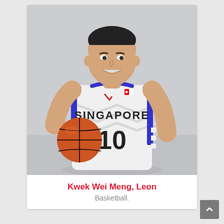[Figure (photo): Athlete Kwek Wei Meng, Leon wearing Singapore national basketball jersey number 10, holding a basketball, smiling at the camera.]
Kwek Wei Meng, Leon
Basketball.